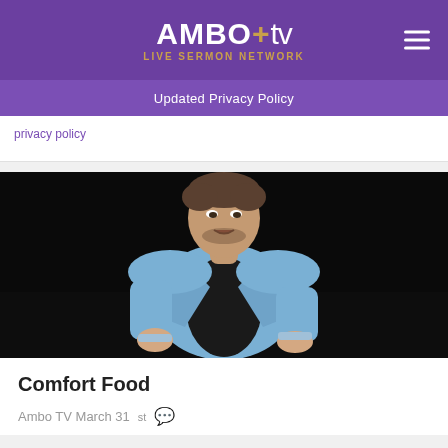AMBO+tv LIVE SERMON NETWORK
Updated Privacy Policy
[Figure (photo): A man in a light blue blazer over a black shirt, gesturing with his hands against a dark background, appearing to be speaking at a sermon or presentation.]
Comfort Food
Ambo TV March 31st